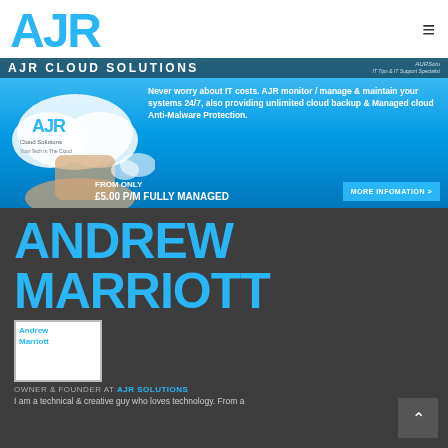AJR [logo]
[Figure (illustration): AJR Cloud Solutions banner advertisement. Blue sky background with hand holding a cloud. Text: 'AJR CLOUD SOLUTIONS', 'Never worry about IT costs. AJR monitor / manage & maintain your systems 24/7, also providing unlimited cloud backup & Managed cloud Anti-Malware Protection.', 'FROM ONLY £5.00 P/M Fully Managed', 'MORE INFOMATION >']
ANDREW MARRIOTT
[Figure (photo): Andrew Marriott profile photo placeholder]
OWNER & FOUNDER AT AJR SOLUTIONS
I am a technical & creative guy who loves technology. From a